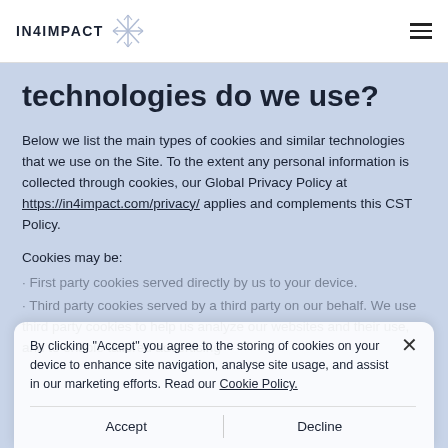IN4IMPACT
technologies do we use?
Below we list the main types of cookies and similar technologies that we use on the Site. To the extent any personal information is collected through cookies, our Global Privacy Policy at https://in4impact.com/privacy/ applies and complements this CST Policy.
Cookies may be:
First party cookies served directly by us to your device.
Third party cookies served by a third party on our behalf. We use third party cookies to help us analyze our websites and their use, and to enable tailored advertising
By clicking "Accept" you agree to the storing of cookies on your device to enhance site navigation, analyse site usage, and assist in our marketing efforts. Read our Cookie Policy.